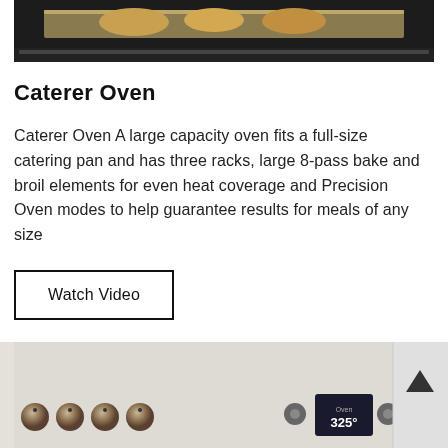[Figure (photo): Top portion of a dark oven interior with a baking tray visible, partial view]
Caterer Oven
Caterer Oven A large capacity oven fits a full-size catering pan and has three racks, large 8-pass bake and broil elements for even heat coverage and Precision Oven modes to help guarantee results for meals of any size
[Figure (other): Watch Video button — rectangular outlined button]
[Figure (photo): Bottom portion showing oven front panel with metallic knobs, LCD display showing 325°F, and control dials]